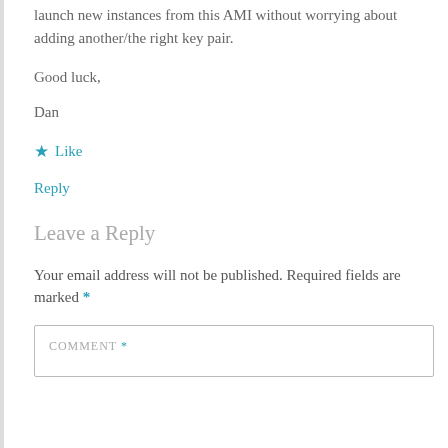launch new instances from this AMI without worrying about adding another/the right key pair.
Good luck,
Dan
★ Like
Reply
Leave a Reply
Your email address will not be published. Required fields are marked *
COMMENT *